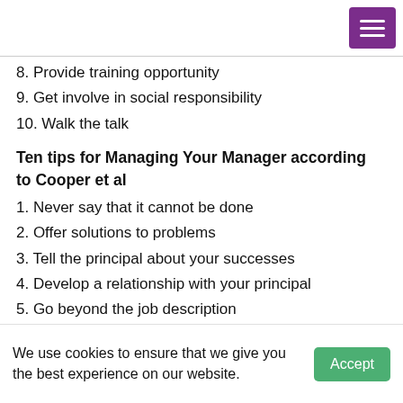8. Provide training opportunity
9. Get involve in social responsibility
10. Walk the talk
Ten tips for Managing Your Manager according to Cooper et al
1. Never say that it cannot be done
2. Offer solutions to problems
3. Tell the principal about your successes
4. Develop a relationship with your principal
5. Go beyond the job description
6. Don't bad-mouth
7. Be loyal
We use cookies to ensure that we give you the best experience on our website.